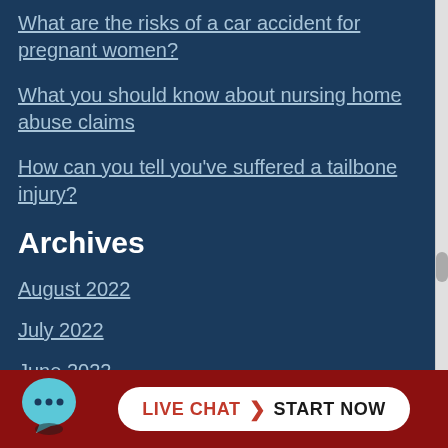What are the risks of a car accident for pregnant women?
What you should know about nursing home abuse claims
How can you tell you've suffered a tailbone injury?
Archives
August 2022
July 2022
June 2022
May 2022
April 2022
[Figure (other): Live chat widget button at bottom of page with chat bubble icon and 'LIVE CHAT START NOW' button in white pill shape on dark red background]